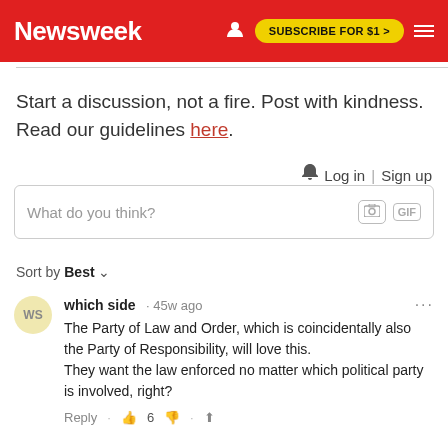Newsweek | SUBSCRIBE FOR $1 >
Start a discussion, not a fire. Post with kindness. Read our guidelines here.
Log in | Sign up
What do you think?
Sort by Best
which side · 45w ago
The Party of Law and Order, which is coincidentally also the Party of Responsibility, will love this. They want the law enforced no matter which political party is involved, right?
Reply · 👍 6 👎 · share